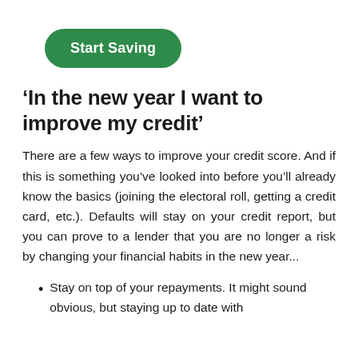[Figure (other): Green rounded rectangle button with white bold text reading 'Start Saving']
'In the new year I want to improve my credit'
There are a few ways to improve your credit score. And if this is something you've looked into before you'll already know the basics (joining the electoral roll, getting a credit card, etc.). Defaults will stay on your credit report, but you can prove to a lender that you are no longer a risk by changing your financial habits in the new year...
Stay on top of your repayments. It might sound obvious, but staying up to date with